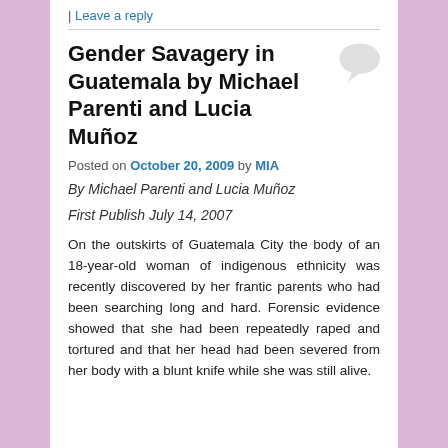| Leave a reply
Gender Savagery in Guatemala by Michael Parenti and Lucia Muñoz
Posted on October 20, 2009 by MIA
By Michael Parenti and Lucia Muñoz
First Publish July 14, 2007
On the outskirts of Guatemala City the body of an 18-year-old woman of indigenous ethnicity was recently discovered by her frantic parents who had been searching long and hard. Forensic evidence showed that she had been repeatedly raped and tortured and that her head had been severed from her body with a blunt knife while she was still alive.